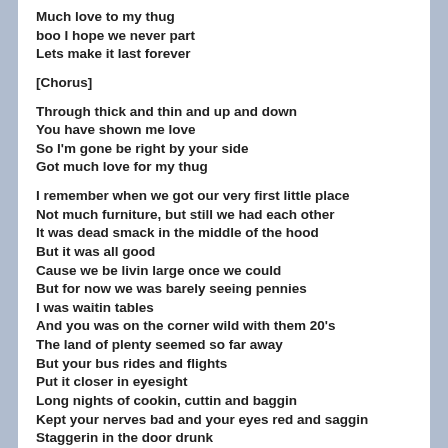Much love to my thug
boo I hope we never part
Lets make it last forever
[Chorus]
Through thick and thin and up and down
You have shown me love
So I'm gone be right by your side
Got much love for my thug
I remember when we got our very first little place
Not much furniture, but still we had each other
It was dead smack in the middle of the hood
But it was all good
Cause we be livin large once we could
But for now we was barely seeing pennies
I was waitin tables
And you was on the corner wild with them 20's
The land of plenty seemed so far away
But your bus rides and flights
Put it closer in eyesight
Long nights of cookin, cuttin and baggin
Kept your nerves bad and your eyes red and saggin
Staggerin in the door drunk
Pushin my accusations about them hoes
Time to flaunt
I was sure you was messing around
Was about to fight...